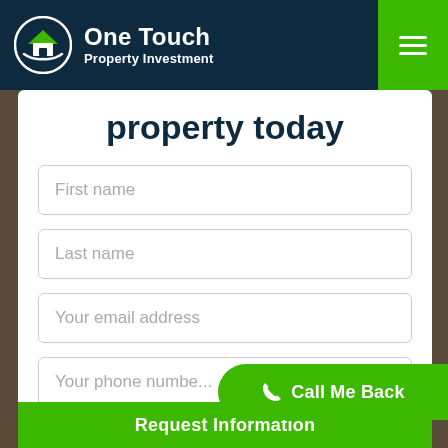[Figure (logo): One Touch Property Investment logo with house/hand icon in white circle on dark navy background]
property today
First name
Last name
Your email address
Your phone number
Request Information
Call Me Back